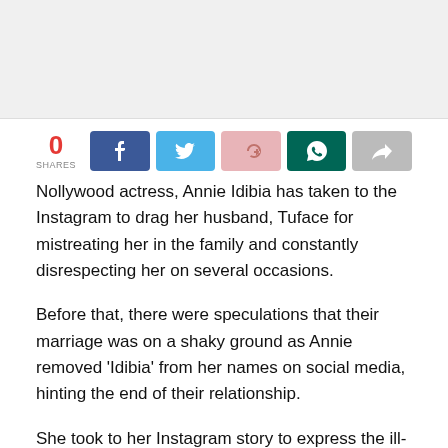[Figure (other): Image placeholder / grey banner at top of article]
0 SHARES
Nollywood actress, Annie Idibia has taken to the Instagram to drag her husband, Tuface for mistreating her in the family and constantly disrespecting her on several occasions.
Before that, there were speculations that their marriage was on a shaky ground as Annie removed 'Idibia' from her names on social media, hinting the end of their relationship.
She took to her Instagram story to express the ill-treatment she has gone through in the hands of her famous